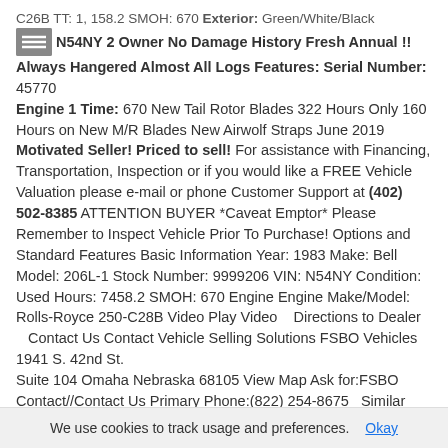C26B TT: 1, 158.2 SMOH: 670 Exterior: Green/White/Black N54NY 2 Owner No Damage History Fresh Annual !! Always Hangered Almost All Logs Features: Serial Number: 45770 Engine 1 Time: 670 New Tail Rotor Blades 322 Hours Only 160 Hours on New M/R Blades New Airwolf Straps June 2019 Motivated Seller! Priced to sell! For assistance with Financing, Transportation, Inspection or if you would like a FREE Vehicle Valuation please e-mail or phone Customer Support at (402) 502-8385 ATTENTION BUYER *Caveat Emptor* Please Remember to Inspect Vehicle Prior To Purchase! Options and Standard Features Basic Information Year: 1983 Make: Bell Model: 206L-1 Stock Number: 9999206 VIN: N54NY Condition: Used Hours: 7458.2 SMOH: 670 Engine Engine Make/Model: Rolls-Royce 250-C28B Video Play Video    Directions to Dealer    Contact Us Contact Vehicle Selling Solutions FSBO Vehicles 1941 S. 42nd St. Suite 104 Omaha Nebraska 68105 View Map Ask for:FSBO Contact//Contact Us Primary Phone:(822) 254-8675   Similar
We use cookies to track usage and preferences.  Okay